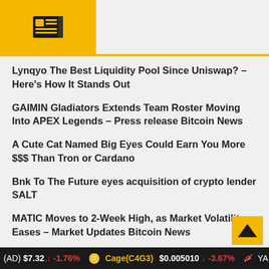News navigation header with icons
Lynqyo The Best Liquidity Pool Since Uniswap? – Here's How It Stands Out
GAIMIN Gladiators Extends Team Roster Moving Into APEX Legends – Press release Bitcoin News
A Cute Cat Named Big Eyes Could Earn You More $$$ Than Tron or Cardano
Bnk To The Future eyes acquisition of crypto lender SALT
MATIC Moves to 2-Week High, as Market Volatility Eases – Market Updates Bitcoin News
Bitcoin, Ethereum, Crypto News and Price Data
10 New Cryptocurrency to Buy in September 2022
(AD) $7.32 ↓ -1.76%   Cage(C4G3) $0.005010 ↓ -3.67%   YA...